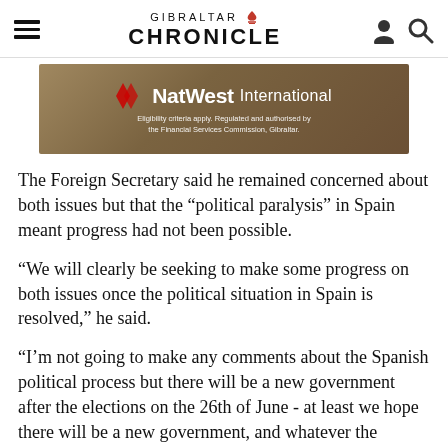GIBRALTAR CHRONICLE
[Figure (other): NatWest International advertisement banner. Text reads: NatWest International. Eligibility criteria apply. Regulated and authorised by the Financial Services Commission, Gibraltar.]
The Foreign Secretary said he remained concerned about both issues but that the “political paralysis” in Spain meant progress had not been possible.
“We will clearly be seeking to make some progress on both issues once the political situation in Spain is resolved,” he said.
“I’m not going to make any comments about the Spanish political process but there will be a new government after the elections on the 26th of June - at least we hope there will be a new government, and whatever the